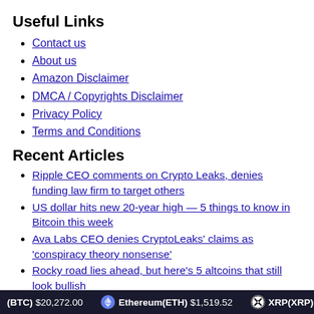Useful Links
Contact us
About us
Amazon Disclaimer
DMCA / Copyrights Disclaimer
Privacy Policy
Terms and Conditions
Recent Articles
Ripple CEO comments on Crypto Leaks, denies funding law firm to target others
US dollar hits new 20-year high — 5 things to know in Bitcoin this week
Ava Labs CEO denies CryptoLeaks' claims as 'conspiracy theory nonsense'
Rocky road lies ahead, but here's 5 altcoins that still look bullish
Bitcoin threatens 20-month low monthly close with BTC price under $20K
Copyright © 2022 by Crypto... — Investing... — All rights...
(BTC) $20,272.00   Ethereum(ETH) $1,519.52   XRP(XRP) $0.